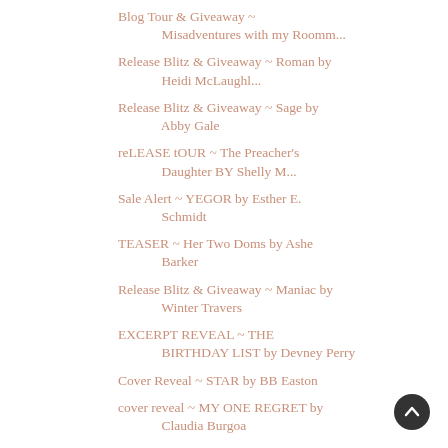Blog Tour & Giveaway ~ Misadventures with my Roomm...
Release Blitz & Giveaway ~ Roman by Heidi McLaughl...
Release Blitz & Giveaway ~ Sage by Abby Gale
reLEASE tOUR ~ The Preacher's Daughter BY Shelly M...
Sale Alert ~ YEGOR by Esther E. Schmidt
TEASER ~ Her Two Doms by Ashe Barker
Release Blitz & Giveaway ~ Maniac by Winter Travers
EXCERPT REVEAL ~ THE BIRTHDAY LIST by Devney Perry
Cover Reveal ~ STAR by BB Easton
cover reveal ~ MY ONE REGRET by Claudia Burgoa
RELEASE BLITZ - Getaway Girl by